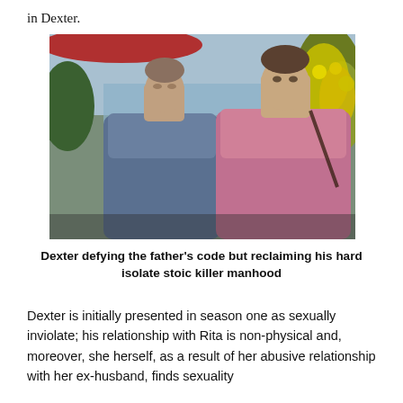in Dexter.
[Figure (photo): Two men standing outdoors. On the left, an older man in a denim shirt looks forward with a serious expression. On the right, a younger man in a pink shirt looks to the side. Background includes a red umbrella, yellow flowers, and waterfront scenery.]
Dexter defying the father's code but reclaiming his hard isolate stoic killer manhood
Dexter is initially presented in season one as sexually inviolate; his relationship with Rita is non-physical and, moreover, she herself, as a result of her abusive relationship with her ex-husband, finds sexuality